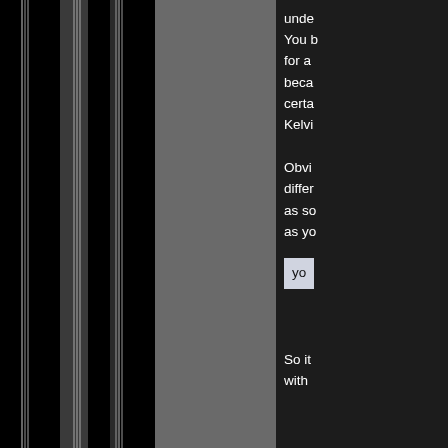[Figure (photo): A dark image showing vertical light stripes or spectral lines against a black background, transitioning to a gray panel on the right side.]
unde... You b... for a... beca... certa... Kelvi...
Obvi... differ... as so... as yo...
yo...
So it... with...